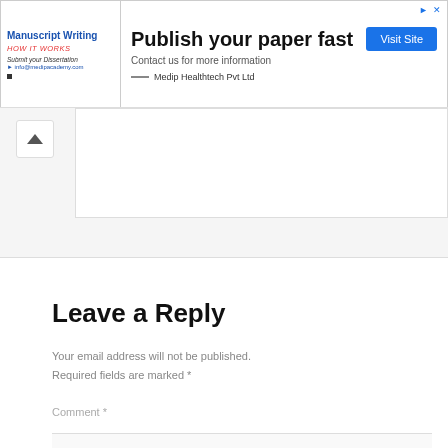[Figure (infographic): Advertisement banner for Medip Healthtech Pvt Ltd manuscript writing service — 'Publish your paper fast', with a Visit Site button and contact info]
Reply
Leave a Reply
Your email address will not be published. Required fields are marked *
Comment *